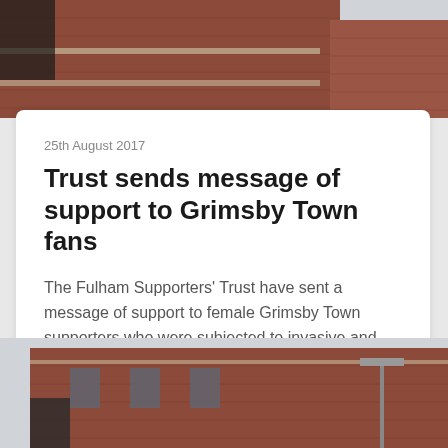[Figure (photo): Partial view of a red brick building exterior, top portion of the page]
25th August 2017
Trust sends message of support to Grimsby Town fans
The Fulham Supporters' Trust have sent a message of support to female Grimsby Town supporters who were subjected to invasive and unacceptable searches prior to last Saturday's game at Stevenage....
[Figure (photo): Partial view of a red brick building exterior, bottom portion of the page]